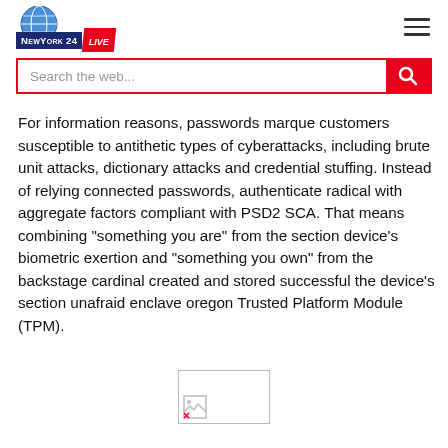NewYork 24 LIVE — Search the web...
For information reasons, passwords marque customers susceptible to antithetic types of cyberattacks, including brute unit attacks, dictionary attacks and credential stuffing. Instead of relying connected passwords, authenticate radical with aggregate factors compliant with PSD2 SCA. That means combining "something you are" from the section device's biometric exertion and "something you own" from the backstage cardinal created and stored successful the device's section unafraid enclave oregon Trusted Platform Module (TPM).
[Figure (photo): Broken image placeholder]